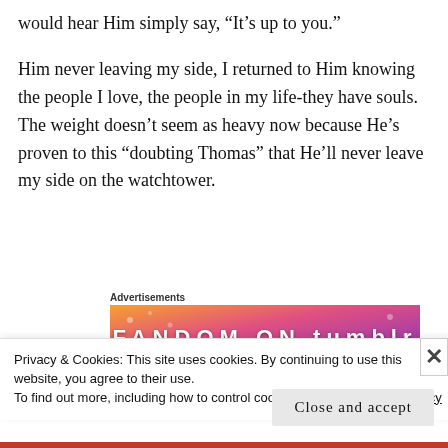would hear Him simply say, “It’s up to you.”
Him never leaving my side, I returned to Him knowing the people I love, the people in my life-they have souls. The weight doesn’t seem as heavy now because He’s proven to this “doubting Thomas” that He’ll never leave my side on the watchtower.
Advertisements
[Figure (other): FANDOM ON tumblr advertisement banner with colorful gradient background (orange, pink, purple) and white text]
Privacy & Cookies: This site uses cookies. By continuing to use this website, you agree to their use.
To find out more, including how to control cookies, see here: Cookie Policy
Close and accept